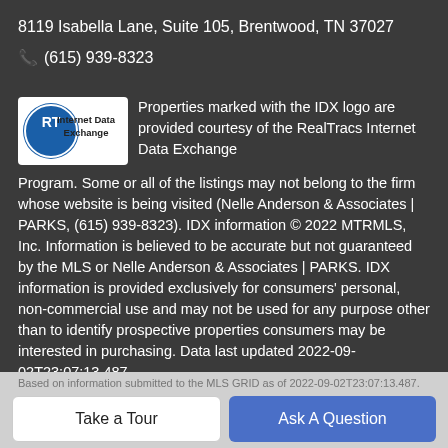8119 Isabella Lane, Suite 105, Brentwood, TN 37027
📞 (615) 939-8323
[Figure (logo): IDX Internet Data Exchange logo — circular blue and white RT emblem with 'Internet Data Exchange' text]
Properties marked with the IDX logo are provided courtesy of the RealTracs Internet Data Exchange Program. Some or all of the listings may not belong to the firm whose website is being visited (Nelle Anderson & Associates | PARKS, (615) 939-8323). IDX information © 2022 MTRMLS, Inc. Information is believed to be accurate but not guaranteed by the MLS or Nelle Anderson & Associates | PARKS. IDX information is provided exclusively for consumers' personal, non-commercial use and may not be used for any purpose other than to identify prospective properties consumers may be interested in purchasing. Data last updated 2022-09-02T23:07:13.487.
Based on information submitted to the MLS GRID as of 2022-09-...
Take a Tour
Ask A Question